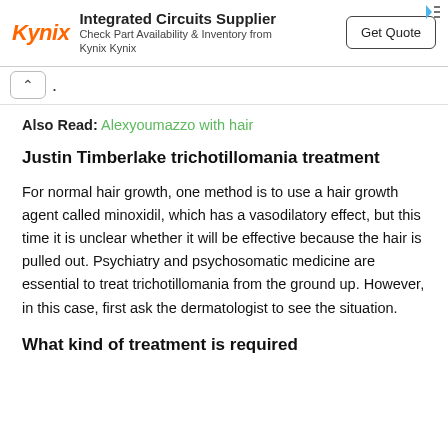[Figure (screenshot): Kynix advertisement banner: logo in red italic, 'Integrated Circuits Supplier' heading, 'Check Part Availability & Inventory from Kynix Kynix' subtext, 'Get Quote' button]
^  .
Also Read: Alexyoumazzo with hair
Justin Timberlake trichotillomania treatment
For normal hair growth, one method is to use a hair growth agent called minoxidil, which has a vasodilatory effect, but this time it is unclear whether it will be effective because the hair is pulled out. Psychiatry and psychosomatic medicine are essential to treat trichotillomania from the ground up. However, in this case, first ask the dermatologist to see the situation.
What kind of treatment is required